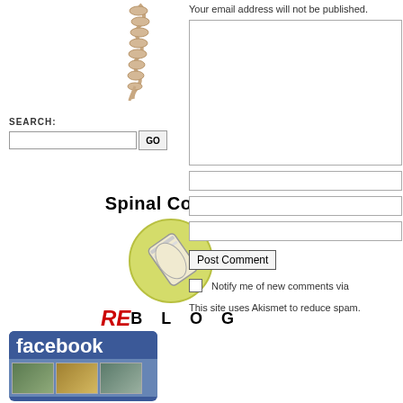[Figure (illustration): Partial view of a human spine/vertebrae illustration in upper left]
SEARCH:
[Figure (other): Search input field with GO button]
[Figure (logo): Spinal Column RE-BLOG logo with circular newspaper graphic]
[Figure (photo): Facebook widget/badge showing facebook text and photo thumbnails]
Your email address will not be published.
[Figure (other): Comment textarea input box]
[Figure (other): Name input field]
[Figure (other): Email input field]
[Figure (other): Website input field]
Post Comment
Notify me of new comments via
This site uses Akismet to reduce spam.